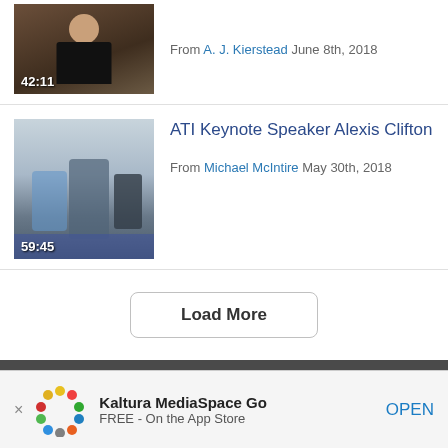[Figure (screenshot): Video thumbnail showing a man in a black jacket and bow tie, duration 42:11]
From A. J. Kierstead June 8th, 2018
ATI Keynote Speaker Alexis Clifton
[Figure (screenshot): Video thumbnail showing a conference room scene with people, duration 59:45]
From Michael McIntire May 30th, 2018
Load More
UNH Media Library - MediaSpace • 603-862-4242 • Contact Us
Kaltura MediaSpace Go FREE - On the App Store OPEN